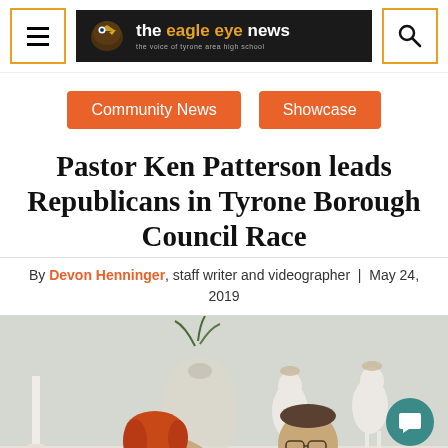the eagle eye news — the voice of tyrone area high school
Community News | Showcase
Pastor Ken Patterson leads Republicans in Tyrone Borough Council Race
By Devon Henninger, staff writer and videographer | May 24, 2019
[Figure (photo): Photo of two people, a woman with red hair and a man with glasses and a beard, indoors with white decorative deer figurines and vases in background. Two circular icon buttons visible on right side.]